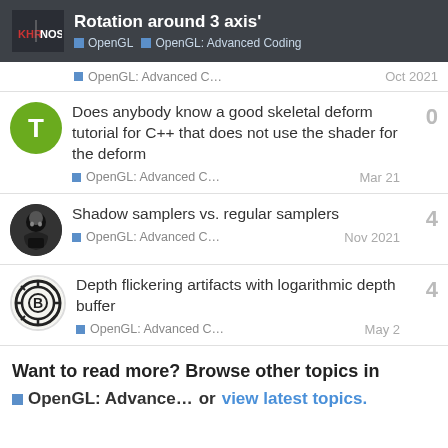Rotation around 3 axis' — OpenGL | OpenGL: Advanced Coding
OpenGL: Advanced C… Oct 2021
Does anybody know a good skeletal deform tutorial for C++ that does not use the shader for the deform — OpenGL: Advanced C… Mar 21 — 0 replies
Shadow samplers vs. regular samplers — OpenGL: Advanced C… Nov 2021 — 4 replies
Depth flickering artifacts with logarithmic depth buffer — OpenGL: Advanced C… May 2 — 4 replies
Want to read more? Browse other topics in OpenGL: Advance… or view latest topics.